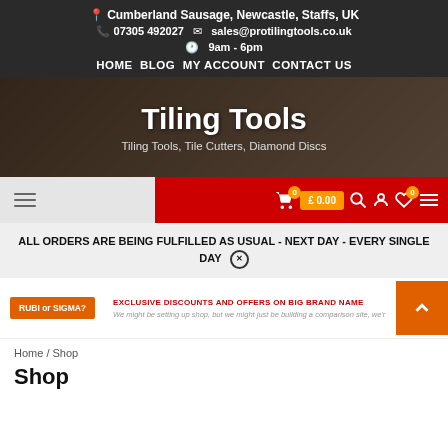Cumberland Sausage, Newcastle, Staffs, UK | 07305 492027 | sales@protilingtools.co.uk | 9am - 6pm
HOME  BLOG  MY ACCOUNT  CONTACT US
Tiling Tools
Tiling Tools, Tile Cutters, Diamond Discs
[Figure (screenshot): Red toolbar with cart icon showing 0 badge, £0.00 price button, search icon, account icon, heart icon with 0 badge, hamburger menu]
ALL ORDERS ARE BEING FULFILLED AS USUAL - NEXT DAY - EVERY SINGLE DAY ✕
[Figure (screenshot): Promotional banner with RUBI or SIGMA? orange button, exclusive discounts text, and orange back-to-top arrow button]
Home / Shop
Shop